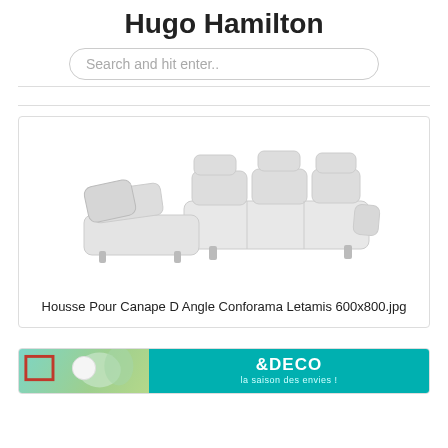Hugo Hamilton
Search and hit enter..
[Figure (photo): White L-shaped sectional sofa with adjustable headrests on a white background]
Housse Pour Canape D Angle Conforama Letamis 600x800.jpg
[Figure (photo): Partial view of a home decor advertisement with teal background and text '&DECO la saison des envies!']